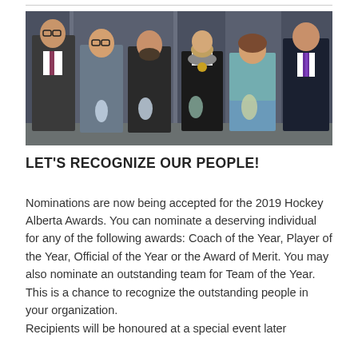[Figure (photo): Group photo of six people standing in a row, some holding glass crystal award trophies. They are dressed formally and semi-formally, standing in front of a grey curtain backdrop.]
LET'S RECOGNIZE OUR PEOPLE!
Nominations are now being accepted for the 2019 Hockey Alberta Awards. You can nominate a deserving individual for any of the following awards: Coach of the Year, Player of the Year, Official of the Year or the Award of Merit. You may also nominate an outstanding team for Team of the Year. This is a chance to recognize the outstanding people in your organization. Recipients will be honoured at a special event later